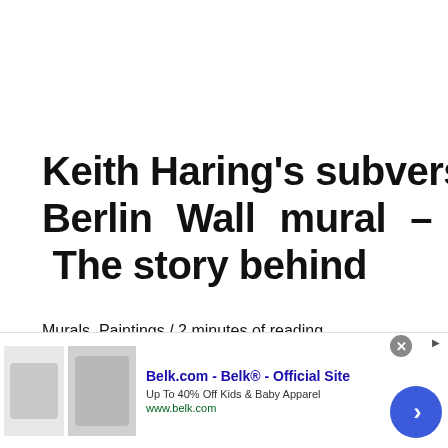Keith Haring's subversive Berlin Wall mural – The story behind
Murals, Paintings / 2 minutes of reading
Embed from Getty Images As an outspoken
[Figure (screenshot): Advertisement banner for Belk.com - Belk® Official Site, showing clothing images, text 'Up To 40% Off Kids & Baby Apparel', URL www.belk.com, with close button and navigation arrow]